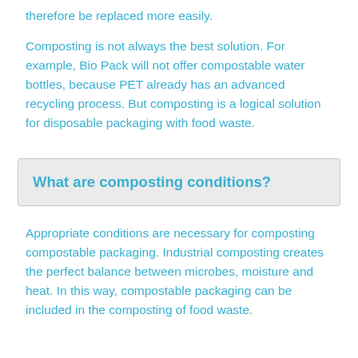therefore be replaced more easily.
Composting is not always the best solution. For example, Bio Pack will not offer compostable water bottles, because PET already has an advanced recycling process. But composting is a logical solution for disposable packaging with food waste.
What are composting conditions?
Appropriate conditions are necessary for composting compostable packaging. Industrial composting creates the perfect balance between microbes, moisture and heat. In this way, compostable packaging can be included in the composting of food waste.